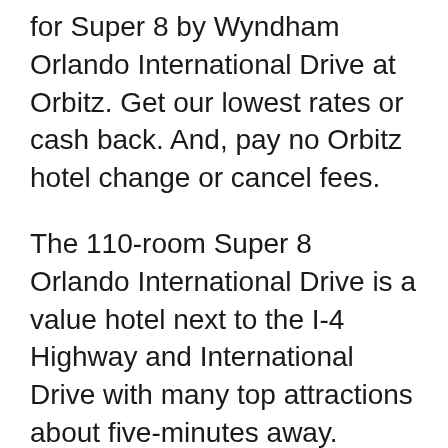for Super 8 by Wyndham Orlando International Drive at Orbitz. Get our lowest rates or cash back. And, pay no Orbitz hotel change or cancel fees.
The 110-room Super 8 Orlando International Drive is a value hotel next to the I-4 Highway and International Drive with many top attractions about five-minutes away. Rooms are basic, but pleasant, and equipped with mini-fridges, coffeemakers, and microwaves, but some have a musty odor and the Wi-Fi signal is spotty. There's also an outdoor pool Super 8 by Wyndham Orlando International Drive, Orlando: See 1,849 traveller reviews, 687 user photos and best deals for Super 8 by